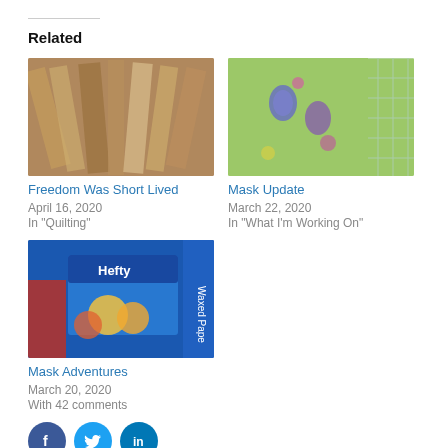Related
[Figure (photo): Photo of stacked quilting fabrics in various patterns and colors on a wooden surface]
Freedom Was Short Lived
April 16, 2020
In "Quilting"
[Figure (photo): Photo of green Easter-themed fabric with eggs and flowers pattern, with grid paper in background]
Mask Update
March 22, 2020
In "What I'm Working On"
[Figure (photo): Photo of Hefty brand products and waxed paper packages with food items visible]
Mask Adventures
March 20, 2020
With 42 comments
[Figure (logo): Facebook social share button]
[Figure (logo): Twitter social share button]
[Figure (logo): LinkedIn social share button]